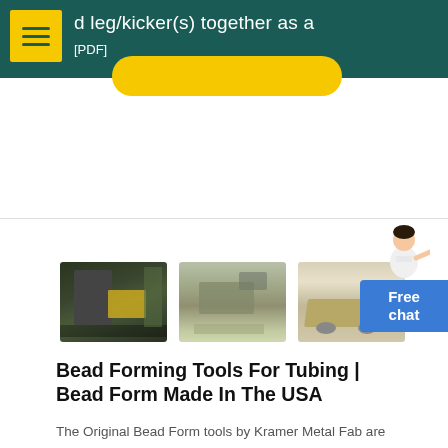d leg/kicker(s) together as a
[PDF]
[Figure (photo): Three industrial mining/crushing equipment photos side by side: indoor factory equipment, aerial quarry view, desert mobile crusher]
Bead Forming Tools For Tubing | Bead Form Made In The USA
The Original Bead Form tools by Kramer Metal Fab are designed to form a pressure hose bead in various types of metal tubing. Useful for fuel lines, radiator and cooling line,aint and sand blast...